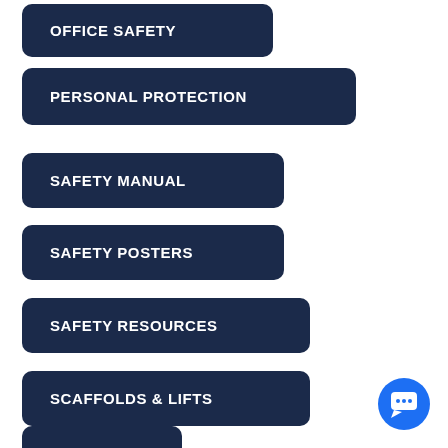OFFICE SAFETY
PERSONAL PROTECTION
SAFETY MANUAL
SAFETY POSTERS
SAFETY RESOURCES
SCAFFOLDS & LIFTS
(partial button at bottom)